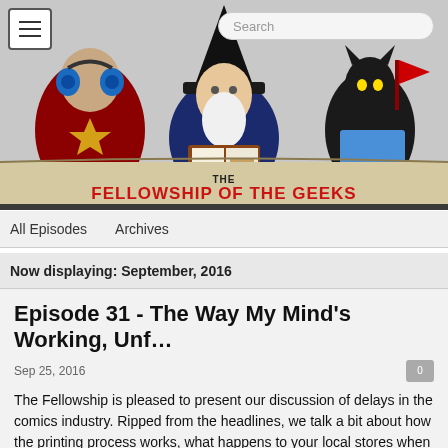[Figure (illustration): Fellowship of the Geeks website banner with cartoon wizard in black hat with white beard, flanked by characters with headphones and a black cat with laptop. Website URL www.thefellowshipofthegeeks.net shown. Menu hamburger icon top-left. Search box top-right.]
All Episodes   Archives
Now displaying: September, 2016
Episode 31 - The Way My Mind's Working, Unf…
Sep 25, 2016
The Fellowship is pleased to present our discussion of delays in the comics industry. Ripped from the headlines, we talk a bit about how the printing process works, what happens to your local stores when delays hit, and how annoyed Les--I mean the average reader gets with said delays. And as always, our picks of the week.
What we're up to this week:
Mikey - nothing fun (houseguests over the weekend)
TC - The MLC Somewhere, The Complete History of The Archie…